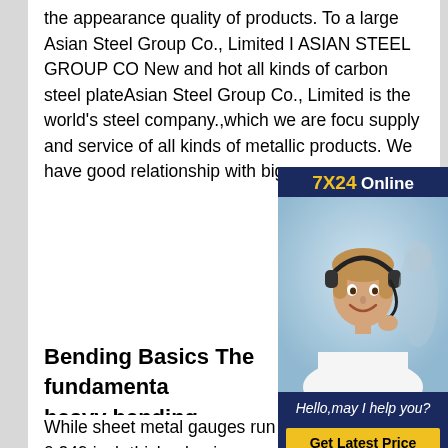the appearance quality of products. To a large Asian Steel Group Co., Limited I ASIAN STEEL GROUP CO New and hot all kinds of carbon steel plateAsian Steel Group Co., Limited is the world's steel company.,which we are focused on supply and service of all kinds of metallic products. We have good relationship with big
[Figure (photo): Customer service representative wearing headset, with '7X24 Online' header and 'Hello,may I help you?' caption and 'Get Latest Price' button on dark blue background]
Bending Basics The fundamentals of heavy bending
While sheet metal gauges run from 0.005 to 0.249 inch thick, aluminum and steel plate thicknesses start at 0.250 in. and go all the way up to 13 in. or even more. Likewise, plate steel varies in strengths from mild varieties to some Buy Steel Cut